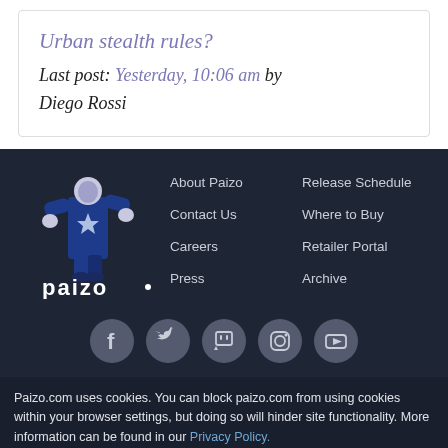Urban stealth rules?
Last post: Yesterday, 10:06 am by Diego Rossi
[Figure (logo): Paizo logo — blue illustrated fantasy figure with 'paizo' text below]
About Paizo
Contact Us
Careers
Press
Release Schedule
Where to Buy
Retailer Portal
Archive
[Figure (illustration): Five social media icon circles: Facebook, Twitter, Twitch, Instagram, YouTube]
Paizo.com uses cookies. You can block paizo.com from using cookies within your browser settings, but doing so will hinder site functionality. More information can be found in our Privacy Policy.
OK